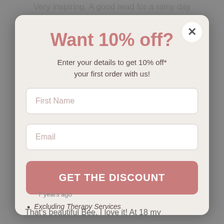Very inspiring. A good read for a rainy day when the mood is low. You are so uplifting
Want 10% off?
Enter your details to get 10% off* your first order with us!
[Figure (screenshot): Form with First Name input field]
[Figure (screenshot): Form with Email input field]
[Figure (screenshot): GET THE DISCOUNT button]
Excluding Therapy Services
7 years ago
That's beautiful Bee, I love it! At 18 my